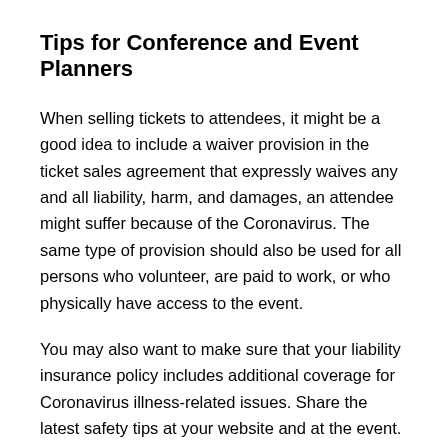Tips for Conference and Event Planners
When selling tickets to attendees, it might be a good idea to include a waiver provision in the ticket sales agreement that expressly waives any and all liability, harm, and damages, an attendee might suffer because of the Coronavirus. The same type of provision should also be used for all persons who volunteer, are paid to work, or who physically have access to the event.
You may also want to make sure that your liability insurance policy includes additional coverage for Coronavirus illness-related issues. Share the latest safety tips at your website and at the event.
Is your property or event location safe? You may want